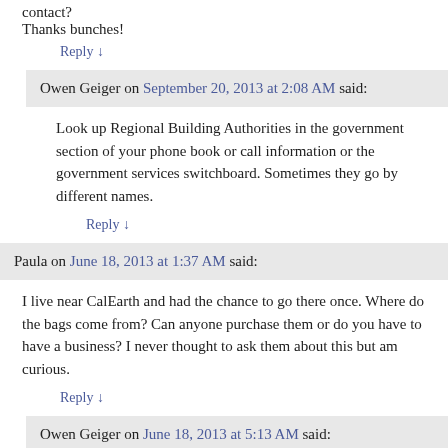contact?
Thanks bunches!
Reply ↓
Owen Geiger on September 20, 2013 at 2:08 AM said:
Look up Regional Building Authorities in the government section of your phone book or call information or the government services switchboard. Sometimes they go by different names.
Reply ↓
Paula on June 18, 2013 at 1:37 AM said:
I live near CalEarth and had the chance to go there once. Where do the bags come from? Can anyone purchase them or do you have to have a business? I never thought to ask them about this but am curious.
Reply ↓
Owen Geiger on June 18, 2013 at 5:13 AM said:
Anyone can buy them. Shop online first because there are many suppliers. The main expense now is shipping, so search for suppliers near you.